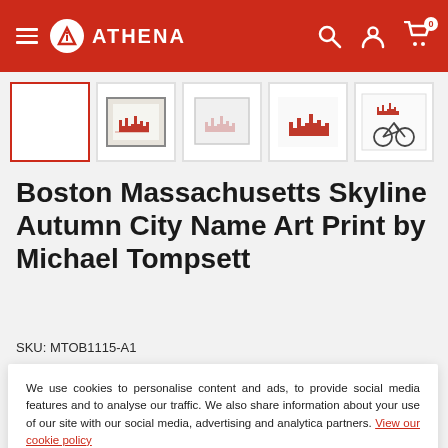Athena — navigation header with hamburger menu, Athena logo, search icon, account icon, cart icon (0)
[Figure (screenshot): Row of 5 product thumbnail images for Boston Massachusetts Skyline Autumn City Name Art Print. First thumbnail is blank/white with a red border (selected). Second shows framed print with skyline. Third is a lighter/smaller version. Fourth shows skyline without frame. Fifth shows art print with a bicycle.]
Boston Massachusetts Skyline Autumn City Name Art Print by Michael Tompsett
SKU: MTOB1115-A1
We use cookies to personalise content and ads, to provide social media features and to analyse our traffic. We also share information about your use of our site with our social media, advertising and analytica partners. View our cookie policy
Accept
A1